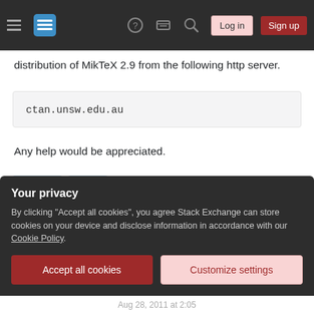Stack Exchange navigation bar with hamburger menu, logo, help, chat, search icons, Log in and Sign up buttons
distribution of MikTeX 2.9 from the following http server.
ctan.unsw.edu.au
Any help would be appreciated.
installing
miktex
Share
asked Aug 28, 2011 at 1:47
Your privacy
By clicking "Accept all cookies", you agree Stack Exchange can store cookies on your device and disclose information in accordance with our Cookie Policy.
Accept all cookies
Customize settings
Aug 28, 2011 at 2:05